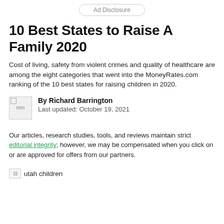Ad Disclosure
10 Best States to Raise A Family 2020
Cost of living, safety from violent crimes and quality of healthcare are among the eight categories that went into the MoneyRates.com ranking of the 10 best states for raising children in 2020.
By Richard Barrington
Last updated: October 19, 2021
Our articles, research studies, tools, and reviews maintain strict editorial integrity; however, we may be compensated when you click on or are approved for offers from our partners.
[Figure (photo): Image labeled 'utah children']